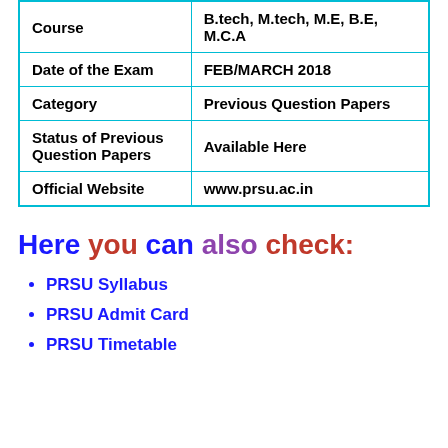|  |  |
| --- | --- |
| Course | B.tech, M.tech, M.E, B.E, M.C.A |
| Date of the Exam | FEB/MARCH 2018 |
| Category | Previous Question Papers |
| Status of Previous Question Papers | Available Here |
| Official Website | www.prsu.ac.in |
Here you can also check:
PRSU Syllabus
PRSU Admit Card
PRSU Timetable